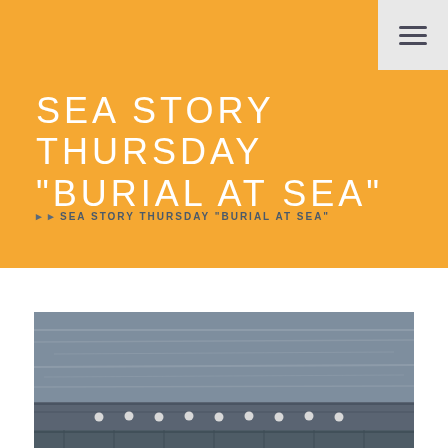SEA STORY THURSDAY “BURIAL AT SEA”
SEA STORY THURSDAY “BURIAL AT SEA”
SEA STORY THURSDAY "BURIAL AT SEA"
[Figure (photo): Black and white photograph of a naval burial at sea ceremony, showing a ship deck with white-capped sailors lined up, with ocean waves visible in the background]